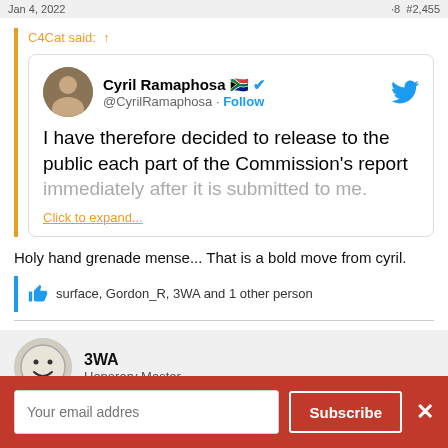Jan 4, 2022  ·8  #2,455
C4Cat said: ⊕
[Figure (screenshot): Embedded tweet from @CyrilRamaphosa with South Africa flag emoji and blue verified checkmark. Text reads: I have therefore decided to release to the public each part of the Commission's report immediately after it is submitted to me. With 'Click to expand...' link.]
Holy hand grenade mense... That is a bold move from cyril.
👍 surface, Gordon_R, 3WA and 1 other person
3WA
Honorary Master
Your email addres  Subscribe  ×